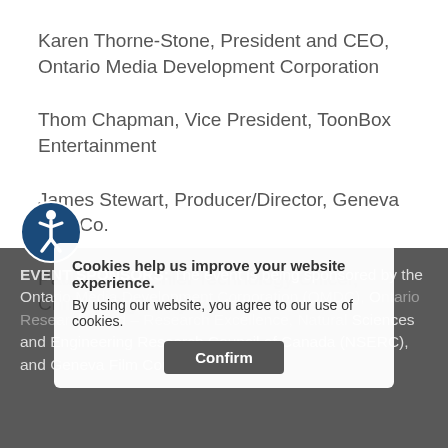Karen Thorne-Stone, President and CEO, Ontario Media Development Corporation
Thom Chapman, Vice President, ToonBox Entertainment
James Stewart, Producer/Director, Geneva Film Co.
Paul Salvini, Chief Technology Officer, Christie Digital Systems
EVENT SPONSORS: The event is being sponsored by the Ontario Media Development Corporation (OMDC), Ontario Research Fund – Research Excellence, Natural Sciences and Engineering Research Council of Canada (NSERC), and Geneva Film Company.
Cookies help us improve your website experience. By using our website, you agree to our use of cookies. Confirm